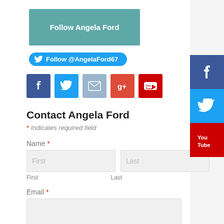[Figure (other): Teal/muted green button labeled 'Follow Angela Ford']
[Figure (other): Twitter follow button: Follow @AngelaFord67]
[Figure (other): Row of 5 social media icon buttons: Facebook, Twitter, Email, Google+, YouTube]
Contact Angela Ford
* Indicates required field
Name *
First
Last
Email *
[Figure (other): Right-side vertical social bar with Facebook, Twitter, YouTube icons]